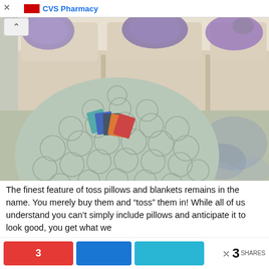CVS Pharmacy
[Figure (photo): A large round tufted ottoman in light sage/mint green fabric sits in front of a beige three-seat sofa with decorative purple floral pillows. Fabric swatches in various colors are placed on top of the ottoman. The floor has a decorative patterned area rug.]
The finest feature of toss pillows and blankets remains in the name. You merely buy them and “toss” them in! While all of us understand you can’t simply include pillows and anticipate it to look good, you get what we
3  [share buttons]  3 SHARES